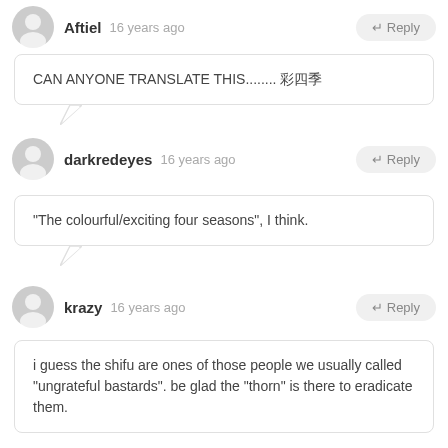Aftiel  16 years ago
CAN ANYONE TRANSLATE THIS........ 彩四季
darkredeyes  16 years ago
"The colourful/exciting four seasons", I think.
krazy  16 years ago
i guess the shifu are ones of those people we usually called "ungrateful bastards". be glad the "thorn" is there to eradicate them.